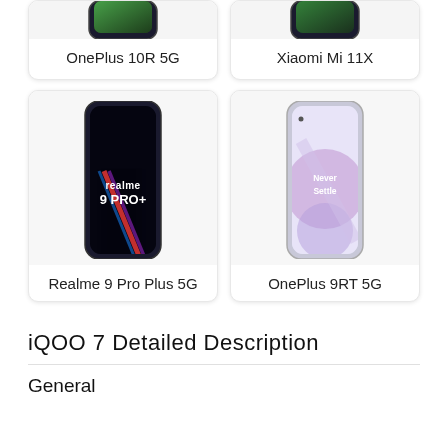[Figure (photo): OnePlus 10R 5G smartphone product card (top portion visible)]
OnePlus 10R 5G
[Figure (photo): Xiaomi Mi 11X smartphone product card (top portion visible)]
Xiaomi Mi 11X
[Figure (photo): Realme 9 Pro Plus 5G smartphone product card with dark screen showing realme 9 PRO+ branding]
Realme 9 Pro Plus 5G
[Figure (photo): OnePlus 9RT 5G smartphone product card with light purple screen showing Never Settle]
OnePlus 9RT 5G
iQOO 7 Detailed Description
General